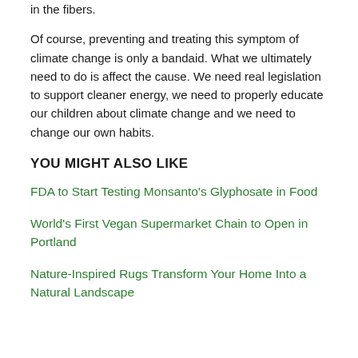in the fibers.
Of course, preventing and treating this symptom of climate change is only a bandaid. What we ultimately need to do is affect the cause. We need real legislation to support cleaner energy, we need to properly educate our children about climate change and we need to change our own habits.
YOU MIGHT ALSO LIKE
FDA to Start Testing Monsanto's Glyphosate in Food
World's First Vegan Supermarket Chain to Open in Portland
Nature-Inspired Rugs Transform Your Home Into a Natural Landscape